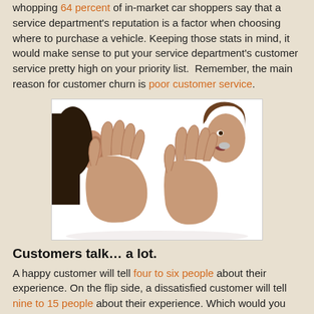whopping 64 percent of in-market car shoppers say that a service department's reputation is a factor when choosing where to purchase a vehicle. Keeping those stats in mind, it would make sense to put your service department's customer service pretty high on your priority list. Remember, the main reason for customer churn is poor customer service.
[Figure (photo): Two people communicating: one with hand cupped to ear listening, and another whispering with hand cupped to mouth, on white background]
Customers talk… a lot.
A happy customer will tell four to six people about their experience. On the flip side, a dissatisfied customer will tell nine to 15 people about their experience. Which would you rather have, considering it takes 12 positive experiences